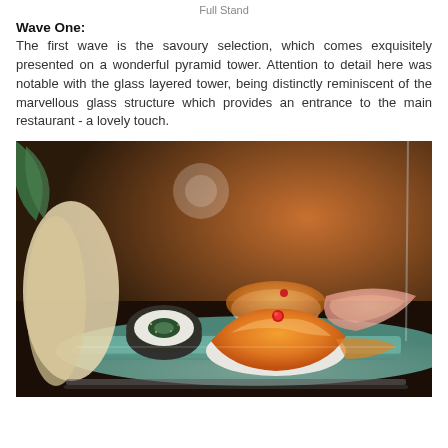Full Stand
Wave One:
The first wave is the savoury selection, which comes exquisitely presented on a wonderful pyramid tower. Attention to detail here was notable with the glass layered tower, being distinctly reminiscent of the marvellous glass structure which provides an entrance to the main restaurant - a lovely touch.
[Figure (photo): Close-up photo of sushi pieces including a maki roll and nigiri with orange salmon/fish on a glass tray, blurred background with warm tones.]